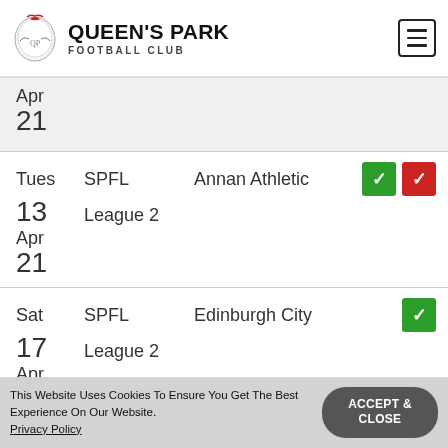[Figure (logo): Queen's Park Football Club crest logo]
QUEEN'S PARK FOOTBALL CLUB
Apr 21
Tues 13 Apr 21 | SPFL League 2 | Annan Athletic
Sat 17 Apr 21 | SPFL League 2 | Edinburgh City
This Website Uses Cookies To Ensure You Get The Best Experience On Our Website. Privacy Policy
ACCEPT & CLOSE